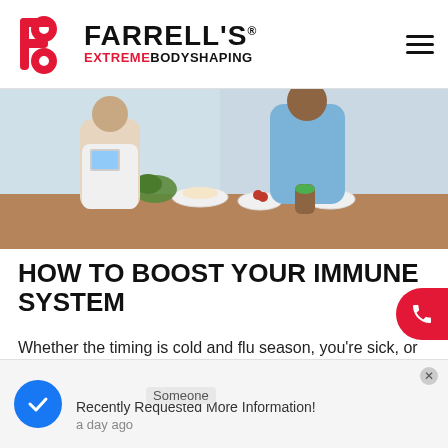FARRELL'S EXTREME BODYSHAPING
[Figure (photo): Two people preparing food in a kitchen, with bowls of ingredients and fresh herbs on a wooden counter. One person holds a tablet.]
HOW TO BOOST YOUR IMMUNE SYSTEM
Whether the timing is cold and flu season, you're sick, or you're interested in taking
Someone
Recently Requested More Information!
a day ago